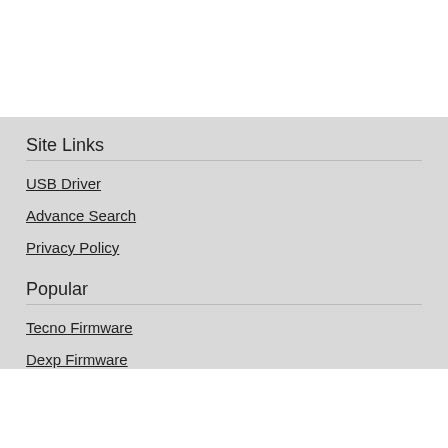Site Links
USB Driver
Advance Search
Privacy Policy
Popular
Tecno Firmware
Dexp Firmware